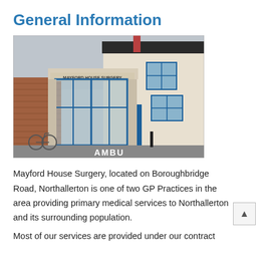General Information
[Figure (photo): Exterior photo of Mayford House Surgery building showing a modern glass-fronted entrance with blue door frames, signage reading MAYFORD HOUSE SURGERY, a brick section and cream-coloured upper storey, with a bicycle and bollard visible, and AMBULANCE painted on the car park surface.]
Mayford House Surgery, located on Boroughbridge Road, Northallerton is one of two GP Practices in the area providing primary medical services to Northallerton and its surrounding population.
Most of our services are provided under our contract